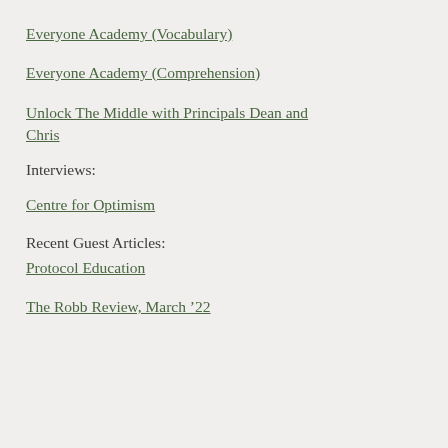Everyone Academy (Vocabulary)
Everyone Academy (Comprehension)
Unlock The Middle with Principals Dean and Chris
Interviews:
Centre for Optimism
Recent Guest Articles:
Protocol Education
The Robb Review, March ’22